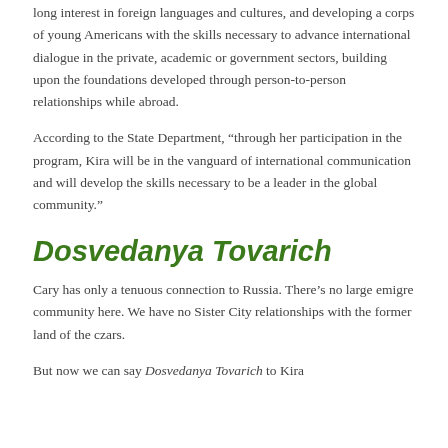long interest in foreign languages and cultures, and developing a corps of young Americans with the skills necessary to advance international dialogue in the private, academic or government sectors, building upon the foundations developed through person-to-person relationships while abroad.
According to the State Department, “through her participation in the program, Kira will be in the vanguard of international communication and will develop the skills necessary to be a leader in the global community.”
Dosvedanya Tovarich
Cary has only a tenuous connection to Russia. There’s no large emigre community here. We have no Sister City relationships with the former land of the czars.
But now we can say Dosvedanya Tovarich to Kira